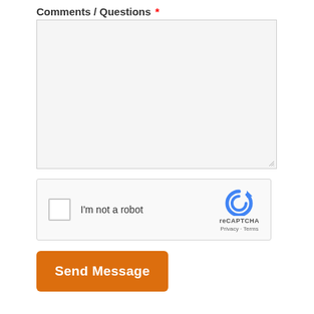Comments / Questions *
[Figure (screenshot): Empty textarea input field with light gray background and resize handle at bottom-right corner]
[Figure (screenshot): reCAPTCHA widget with checkbox labeled 'I'm not a robot', reCAPTCHA logo, and Privacy/Terms links]
Send Message